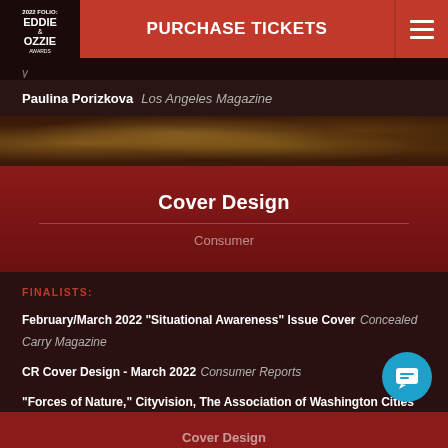2022 FOLIO: EDDIE & OZZIE AWARDS | PURCHASE TICKETS
Paulina Porizkova   Los Angeles Magazine
Cover Design
Consumer
FINALISTS:
February/March 2022 "Situational Awareness" Issue Cover   Concealed Carry Magazine
CR Cover Design - March 2022   Consumer Reports
"Forces of Nature," Cityvision, The Association of Washington Cities Magazine, Fall 2021   Cityvision, The Association of Washington Cities Magazine
Cover Design